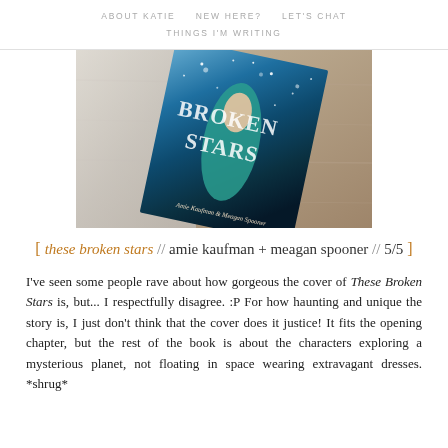ABOUT KATIE   NEW HERE?   LET'S CHAT
THINGS I'M WRITING
[Figure (photo): Photo of the book 'These Broken Stars' by Amie Kaufman and Meagan Spooner lying on a wooden surface. The book cover features a woman in a teal dress against a starry blue sky background with large glittery title text.]
[ these broken stars // amie kaufman + meagan spooner // 5/5 ]
I've seen some people rave about how gorgeous the cover of These Broken Stars is, but... I respectfully disagree. :P For how haunting and unique the story is, I just don't think that the cover does it justice! It fits the opening chapter, but the rest of the book is about the characters exploring a mysterious planet, not floating in space wearing extravagant dresses. *shrug*